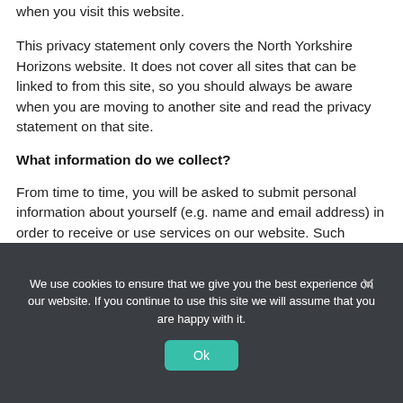when you visit this website.
This privacy statement only covers the North Yorkshire Horizons website. It does not cover all sites that can be linked to from this site, so you should always be aware when you are moving to another site and read the privacy statement on that site.
What information do we collect?
From time to time, you will be asked to submit personal information about yourself (e.g. name and email address) in order to receive or use services on our website. Such services include bulletins, email updates, website feedback.
We use cookies to ensure that we give you the best experience on our website. If you continue to use this site we will assume that you are happy with it.